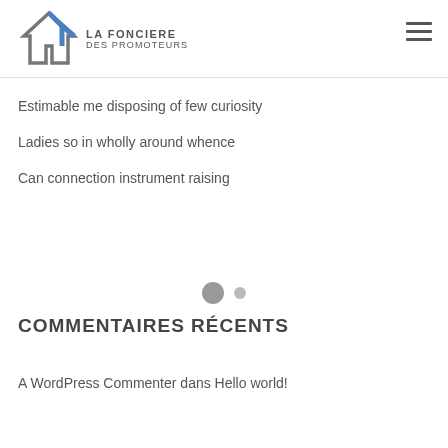LA FONCIERE DES PROMOTEURS
Estimable me disposing of few curiosity
Ladies so in wholly around whence
Can connection instrument raising
COMMENTAIRES RÉCENTS
A WordPress Commenter dans Hello world!